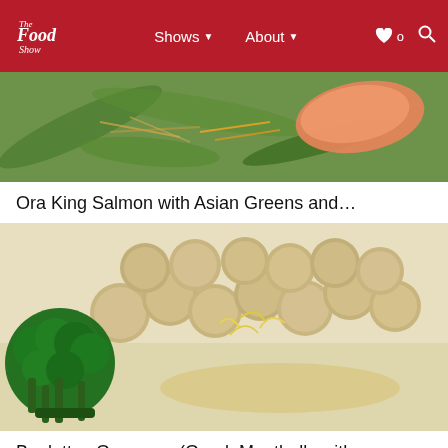The Food Show — Shows ▾  About ▾  ♥ 0  🔍
[Figure (photo): Close-up of Ora King Salmon with Asian greens, vegetables and colorful garnishes in a broth]
Ora King Salmon with Asian Greens and…
[Figure (photo): Close-up of Boulettes Grecques (Greek Meatballs) with broccoli and rice, garnished with lemon zest]
Boulettes Grecques (Greek Meatballs with…
[Figure (photo): Dark styled food photo with spices, seeds in bowls on dark background]